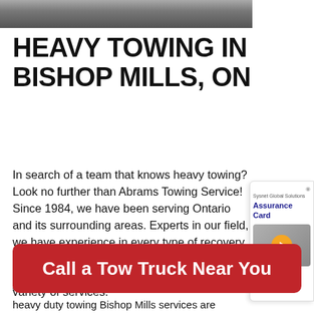[Figure (photo): Partial view of a road or ground surface photo at the top of the page]
HEAVY TOWING IN BISHOP MILLS, ON
In search of a team that knows heavy towing? Look no further than Abrams Towing Service! Since 1984, we have been serving Ontario and its surrounding areas. Experts in our field, we have experience in every type of recovery from heavy duty rescues and multiple vehicle transport. Our professional crew offer a wide variety of services.
[Figure (other): Sidebar card showing Sysnet Global Solutions Assurance Card with orange arrow button]
As WreckMaster certified operators, our heavy
[Figure (other): Red CTA button reading 'Call a Tow Truck Near You']
heavy duty towing Bishop Mills services are